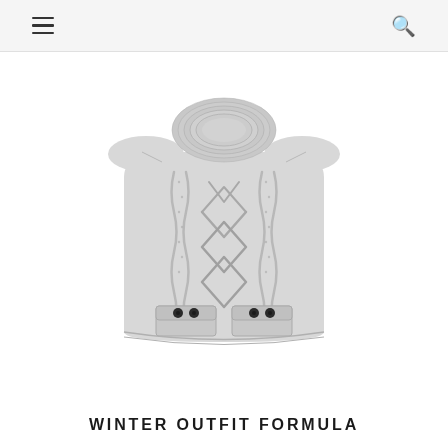Navigation header with hamburger menu and search icon
[Figure (photo): A light gray cable-knit sweater dress with short sleeves, ribbed neckline, cable-knit pattern throughout the body, and two front pockets with dark buttons at the bottom.]
WINTER OUTFIT FORMULA